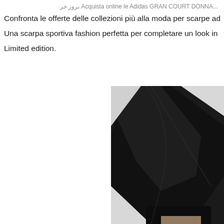Acquista online le Adidas GRAN COURT DONNA بروز خر...
Confronta le offerte delle collezioni più alla moda per scarpe adidas gr
Una scarpa sportiva fashion perfetta per completare un look in stile ur
Limited edition.
[Figure (photo): Close-up photo of a person wearing black slim-fit trousers/leggings, showing from thigh down to ankle, with a light grey background. The clothing is dark black fabric.]